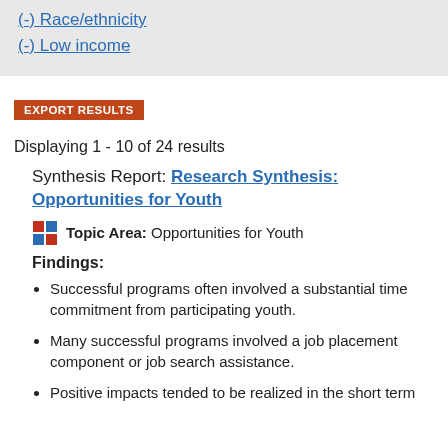(-) Race/ethnicity
(-) Low income
EXPORT RESULTS
Displaying 1 - 10 of 24 results
Synthesis Report: Research Synthesis: Opportunities for Youth
Topic Area: Opportunities for Youth
Findings:
Successful programs often involved a substantial time commitment from participating youth.
Many successful programs involved a job placement component or job search assistance.
Positive impacts tended to be realized in the short term